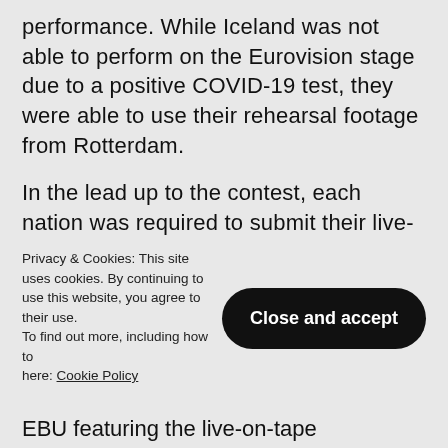performance. While Iceland was not able to perform on the Eurovision stage due to a positive COVID-19 test, they were able to use their rehearsal footage from Rotterdam.
In the lead up to the contest, each nation was required to submit their live-on-tape performance. To make things fair across the board, each nation had 1 hour to record their tape, with 3 attempts allowed within that hour. The national broadcaster could then
Privacy & Cookies: This site uses cookies. By continuing to use this website, you agree to their use. To find out more, including how to… here: Cookie Policy
EBU featuring the live-on-tape